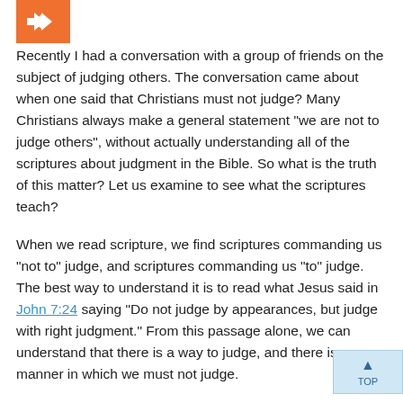[Figure (other): Orange square icon with a white back arrow, used as a navigation or category indicator in the upper left corner]
Recently I had a conversation with a group of friends on the subject of judging others. The conversation came about when one said that Christians must not judge? Many Christians always make a general statement “we are not to judge others”, without actually understanding all of the scriptures about judgment in the Bible. So what is the truth of this matter? Let us examine to see what the scriptures teach?
When we read scripture, we find scriptures commanding us “not to” judge, and scriptures commanding us “to” judge. The best way to understand it is to read what Jesus said in John 7:24 saying “Do not judge by appearances, but judge with right judgment.” From this passage alone, we can understand that there is a way to judge, and there is a manner in which we must not judge.